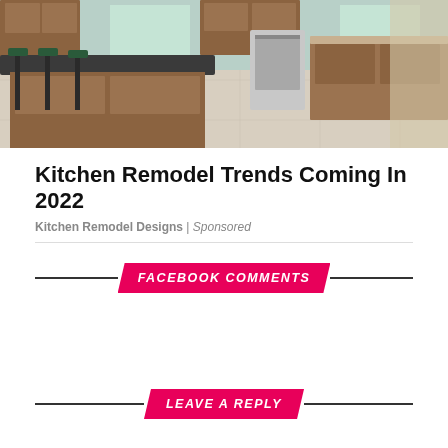[Figure (photo): Kitchen interior with granite island countertop, bar stools, wooden cabinets, stainless steel appliances, and tile floor]
Kitchen Remodel Trends Coming In 2022
Kitchen Remodel Designs | Sponsored
FACEBOOK COMMENTS
LEAVE A REPLY